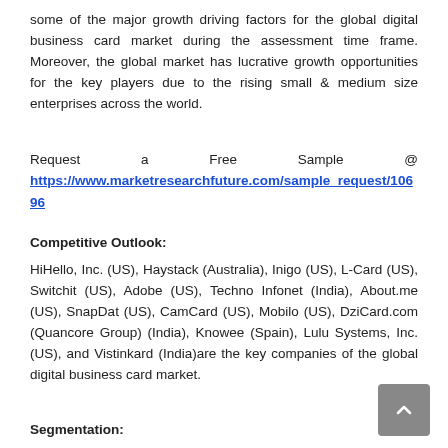some of the major growth driving factors for the global digital business card market during the assessment time frame. Moreover, the global market has lucrative growth opportunities for the key players due to the rising small & medium size enterprises across the world.
Request a Free Sample @ https://www.marketresearchfuture.com/sample_request/10696
Competitive Outlook:
HiHello, Inc. (US), Haystack (Australia), Inigo (US), L-Card (US), Switchit (US), Adobe (US), Techno Infonet (India), About.me (US), SnapDat (US), CamCard (US), Mobilo (US), DziCard.com (Quancore Group) (India), Knowee (Spain), Lulu Systems, Inc. (US), and Vistinkard (India)are the key companies of the global digital business card market.
Segmentation:
Segmentally, the global digital business card market has been divided based on platform, type, application, and pricing.